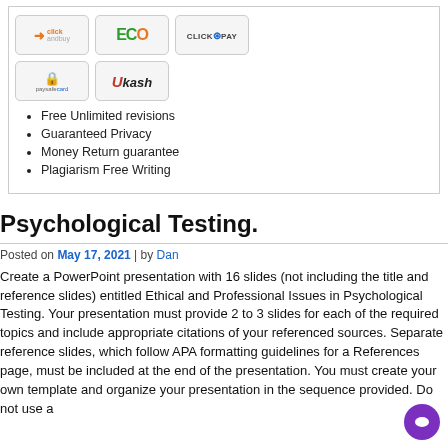[Figure (logo): Payment method logos: clickandbuy, ECO, CLICK@PAY, paysafecard, Ukash]
Free Unlimited revisions
Guaranteed Privacy
Money Return guarantee
Plagiarism Free Writing
Psychological Testing.
Posted on May 17, 2021 | by Dan
Create a PowerPoint presentation with 16 slides (not including the title and reference slides) entitled Ethical and Professional Issues in Psychological Testing. Your presentation must provide 2 to 3 slides for each of the required topics and include appropriate citations of your referenced sources. Separate reference slides, which follow APA formatting guidelines for a References page, must be included at the end of the presentation. You must create your own template and organize your presentation in the sequence provided. Do not use a